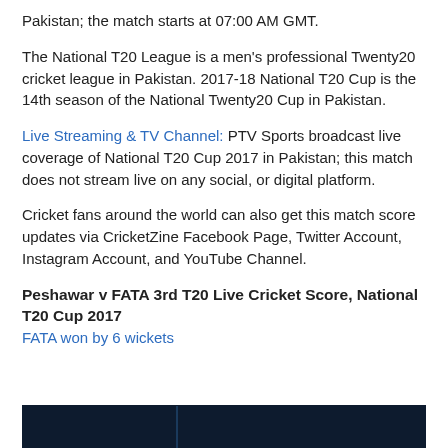Pakistan; the match starts at 07:00 AM GMT.
The National T20 League is a men's professional Twenty20 cricket league in Pakistan. 2017-18 National T20 Cup is the 14th season of the National Twenty20 Cup in Pakistan.
Live Streaming & TV Channel: PTV Sports broadcast live coverage of National T20 Cup 2017 in Pakistan; this match does not stream live on any social, or digital platform.
Cricket fans around the world can also get this match score updates via CricketZine Facebook Page, Twitter Account, Instagram Account, and YouTube Channel.
Peshawar v FATA 3rd T20 Live Cricket Score, National T20 Cup 2017
FATA won by 6 wickets
[Figure (other): Dark banner/table header bar at the bottom of the page]